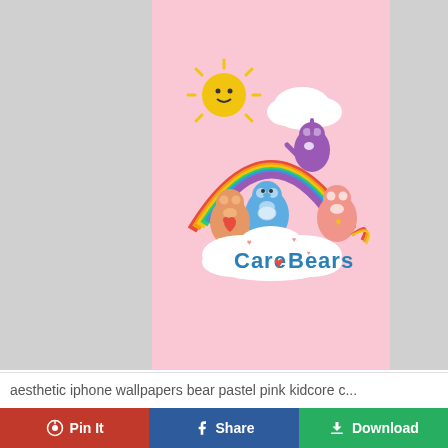[Figure (illustration): Care Bears cartoon illustration on a pink background. Shows colorful bears on clouds under a rainbow with a smiling sun. Text reads 'Care Bears' in blue/teal lettering.]
aesthetic iphone wallpapers bear pastel pink kidcore c...
Pin It
Share
Download